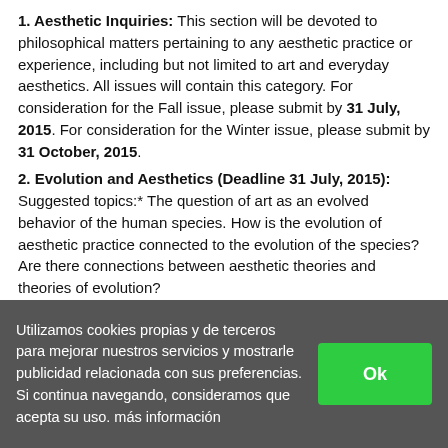1. Aesthetic Inquiries: This section will be devoted to philosophical matters pertaining to any aesthetic practice or experience, including but not limited to art and everyday aesthetics. All issues will contain this category. For consideration for the Fall issue, please submit by 31 July, 2015. For consideration for the Winter issue, please submit by 31 October, 2015.
2. Evolution and Aesthetics (Deadline 31 July, 2015): Suggested topics:* The question of art as an evolved behavior of the human species. How is the evolution of aesthetic practice connected to the evolution of the species? Are there connections between aesthetic theories and theories of evolution?
* Critical readings of evolution and progress as narratives of aesthetic histories and cultures.
* Aesthetic tastes and practices in other species.
* Creative and aesthetic processes inherent to processes of evolution and change.
* Aesthetic matters pertinent to studies of the «origins» of life, including
Utilizamos cookies propias y de terceros para mejorar nuestros servicios y mostrarle publicidad relacionada con sus preferencias. Si continua navegando, consideramos que acepta su uso. más información